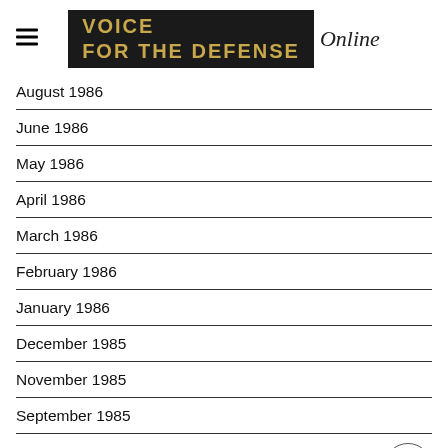VOICE Online
August 1986
June 1986
May 1986
April 1986
March 1986
February 1986
January 1986
December 1985
November 1985
September 1985
August 1985
June 1985